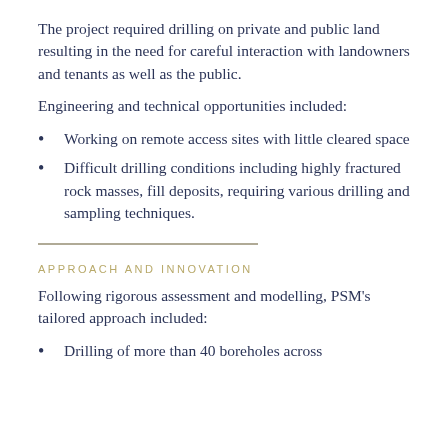The project required drilling on private and public land resulting in the need for careful interaction with landowners and tenants as well as the public.
Engineering and technical opportunities included:
Working on remote access sites with little cleared space
Difficult drilling conditions including highly fractured rock masses, fill deposits, requiring various drilling and sampling techniques.
APPROACH AND INNOVATION
Following rigorous assessment and modelling, PSM's tailored approach included:
Drilling of more than 40 boreholes across